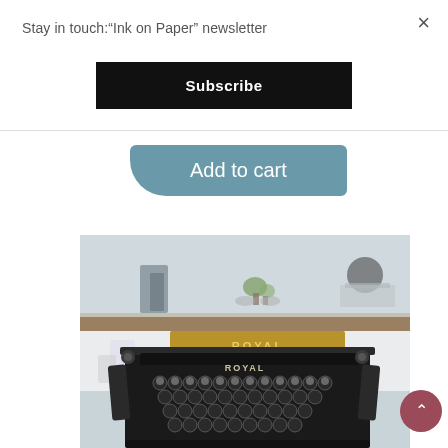Stay in touch:"Ink on Paper" newsletter
Subscribe
Add to cart
[Figure (photo): Close-up photograph of a vintage Royal typewriter in black with silver keys, with a golden/brown paper guide bar showing the ROYAL brand name, set against a soft blurred background of a modern interior with shelving.]
×